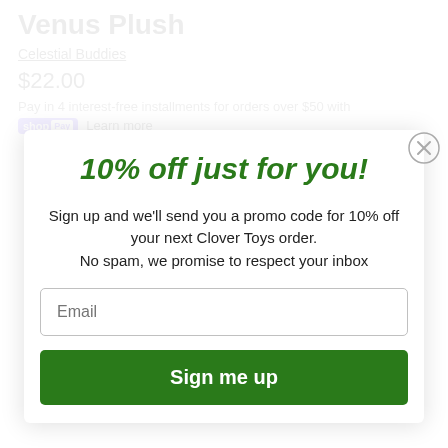Venus Plush
Celestial Buddies
$22.00
Pay in 4 interest-free installments for orders over $50 with shop Pay Learn more
10% off just for you!
Sign up and we'll send you a promo code for 10% off your next Clover Toys order.
No spam, we promise to respect your inbox
Email
Sign me up